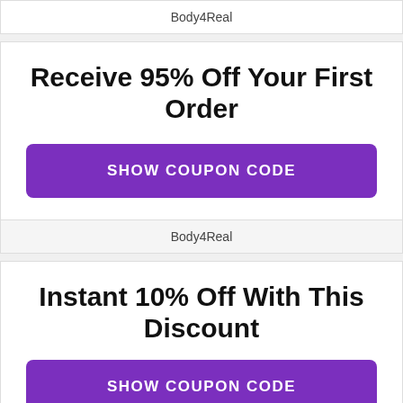Body4Real
Receive 95% Off Your First Order
SHOW COUPON CODE
Body4Real
Instant 10% Off With This Discount
SHOW COUPON CODE